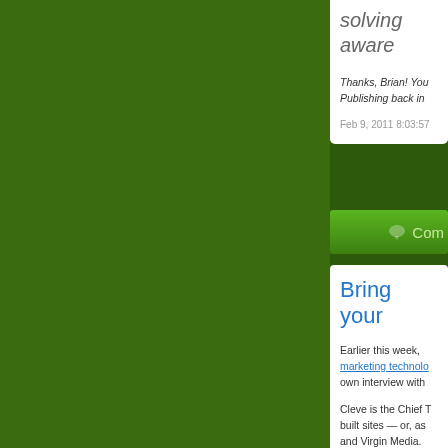solving aware
Thanks, Brian! You Publishing back in
Feb 9, 2011 8:03:57
Com
Bring your
Earlier this week, marketing technology own interview with
Cleve is the Chief T built sites — or, as and Virgin Media. H bringing "technique form of design ho